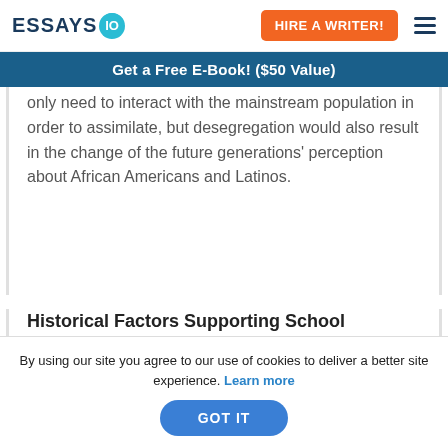ESSAYS IO | HIRE A WRITER!
Get a Free E-Book! ($50 Value)
only need to interact with the mainstream population in order to assimilate, but desegregation would also result in the change of the future generations' perception about African Americans and Latinos.
Historical Factors Supporting School Segregation
By using our site you agree to our use of cookies to deliver a better site experience. Learn more
GOT IT